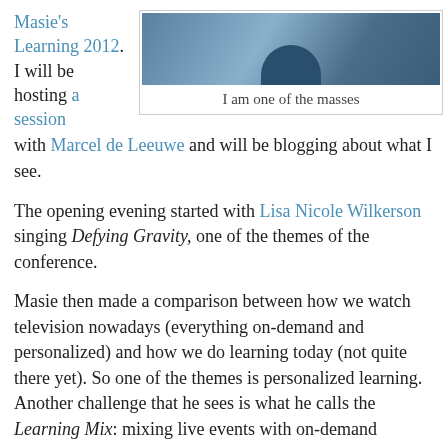Masie's Learning 2012. I will be hosting a session with Marcel de Leeuwe and will be blogging about what I see.
[Figure (photo): Photo of conference attendees seated at a table, one in a blue shirt]
I am one of the masses
The opening evening started with Lisa Nicole Wilkerson singing Defying Gravity, one of the themes of the conference.
Masie then made a comparison between how we watch television nowadays (everything on-demand and personalized) and how we do learning today (not quite there yet). So one of the themes is personalized learning. Another challenge that he sees is what he calls the Learning Mix: mixing live events with on-demand